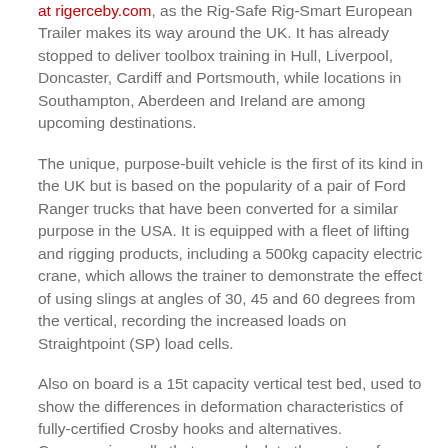at rigerceby.com, as the Rig-Safe Rig-Smart European Trailer makes its way around the UK. It has already stopped to deliver toolbox training in Hull, Liverpool, Doncaster, Cardiff and Portsmouth, while locations in Southampton, Aberdeen and Ireland are among upcoming destinations.
The unique, purpose-built vehicle is the first of its kind in the UK but is based on the popularity of a pair of Ford Ranger trucks that have been converted for a similar purpose in the USA. It is equipped with a fleet of lifting and rigging products, including a 500kg capacity electric crane, which allows the trainer to demonstrate the effect of using slings at angles of 30, 45 and 60 degrees from the vertical, recording the increased loads on Straightpoint (SP) load cells.
Also on board is a 15t capacity vertical test bed, used to show the differences in deformation characteristics of fully-certified Crosby hooks and alternatives. Compression cells that can calculate the centre of gravity of loads; two work-benches setup for Crosby IP vertical lifting clamp training; and a selection of other products that allow end users to gain hands-on experience with the product range, complete